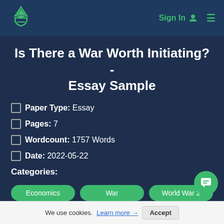Sign In  ☰
Is There a War Worth Initiating? - Essay Sample
Paper Type: Essay
Pages: 7
Wordcount: 1757 Words
Date: 2022-05-22
Categories:
Economics  War  World War 2
We use cookies. Learn more → Accept